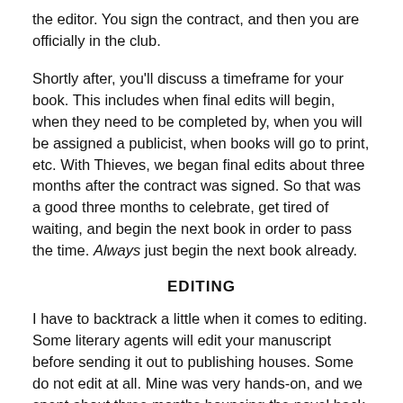the editor. You sign the contract, and then you are officially in the club.
Shortly after, you'll discuss a timeframe for your book. This includes when final edits will begin, when they need to be completed by, when you will be assigned a publicist, when books will go to print, etc. With Thieves, we began final edits about three months after the contract was signed. So that was a good three months to celebrate, get tired of waiting, and begin the next book in order to pass the time. Always just begin the next book already.
EDITING
I have to backtrack a little when it comes to editing. Some literary agents will edit your manuscript before sending it out to publishing houses. Some do not edit at all. Mine was very hands-on, and we spent about three months bouncing the novel back and